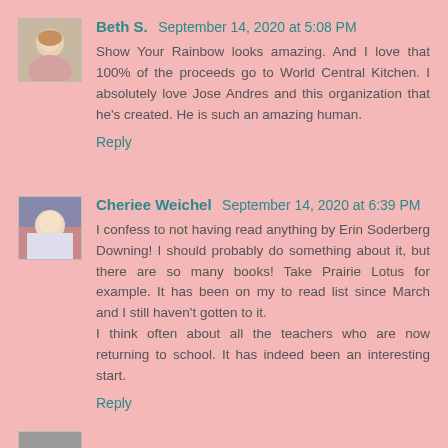Beth S. September 14, 2020 at 5:08 PM
Show Your Rainbow looks amazing. And I love that 100% of the proceeds go to World Central Kitchen. I absolutely love Jose Andres and this organization that he's created. He is such an amazing human.
Reply
Cheriee Weichel September 14, 2020 at 6:39 PM
I confess to not having read anything by Erin Soderberg Downing! I should probably do something about it, but there are so many books! Take Prairie Lotus for example. It has been on my to read list since March and I still haven't gotten to it.
I think often about all the teachers who are now returning to school. It has indeed been an interesting start.
Reply